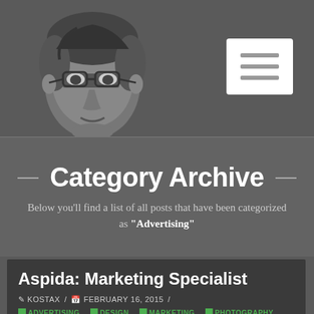[Figure (illustration): Line-art illustration of a man's face/head with glasses and dark hair, on dark gray background. Hamburger menu icon in white rounded rectangle in top right.]
Category Archive
Below you'll find a list of all posts that have been categorized as "Advertising"
Aspida: Marketing Specialist
✏ KOSTAX / 📅 FEBRUARY 16, 2015 /
ADVERTISING, DESIGN, MARKETING, PHOTOGRAPHY
Aspida provides HIPAA compliant security solutions for the